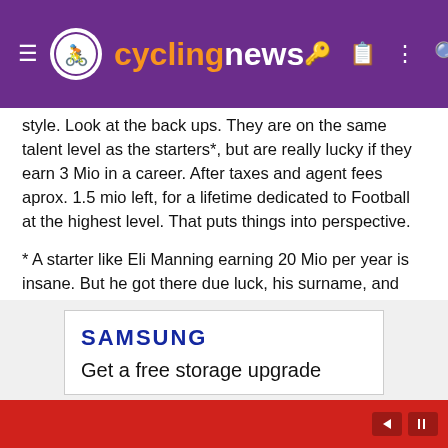cyclingnews
style. Look at the back ups. They are on the same talent level as the starters*, but are really lucky if they earn 3 Mio in a career. After taxes and agent fees aprox. 1.5 mio left, for a lifetime dedicated to Football at the highest level. That puts things into perspective.
* A starter like Eli Manning earning 20 Mio per year is insane. But he got there due luck, his surname, and being relatively injury free. But for every lucky lottery winner like him there are 10 QBs who just were unlucky. Google Toby Korrodi for example. A tremdous talent being at the wrong college at the wrong time > scouts didnt notice him > thus he landed in the NFL as undrafted interchangebale meat. This minuscule are the differences at the top of the top of top between top earner and also ran.
[Figure (other): Samsung advertisement: Samsung logo and text 'Get a free storage upgrade' with red ad bar at bottom containing playback controls]